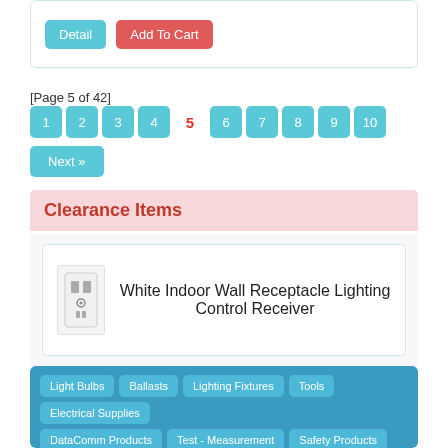Detail | Add To Cart (buttons)
[Page 5 of 42]  1  2  3  4  5  6  7  8  9  10
Next »
Clearance Items
White Indoor Wall Receptacle Lighting Control Receiver
Light Bulbs | Ballasts | Lighting Fixtures | Tools | Electrical Supplies | DataComm Products | Test - Measurement | Safety Products | HVAC | Shop by Brand | Customer Service | Register Account | Order Status | View Cart | About | Links | Blog | Contact